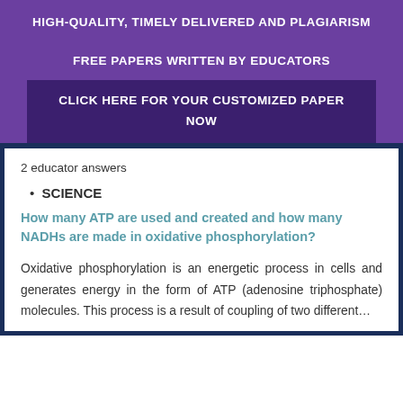HIGH-QUALITY, TIMELY DELIVERED AND PLAGIARISM FREE PAPERS WRITTEN BY EDUCATORS
CLICK HERE FOR YOUR CUSTOMIZED PAPER NOW
2 educator answers
SCIENCE
How many ATP are used and created and how many NADHs are made in oxidative phosphorylation?
Oxidative phosphorylation is an energetic process in cells and generates energy in the form of ATP (adenosine triphosphate) molecules. This process is a result of coupling of two different…